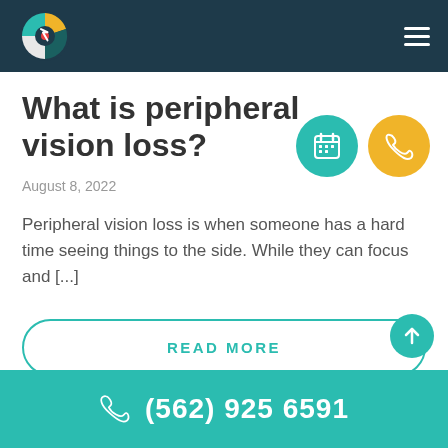[Figure (logo): Circular logo with teal, yellow, and white segments and a red/orange dot center on dark navy background]
What is peripheral vision loss?
August 8, 2022
Peripheral vision loss is when someone has a hard time seeing things to the side. While they can focus and [...]
READ MORE
(562) 925 6591